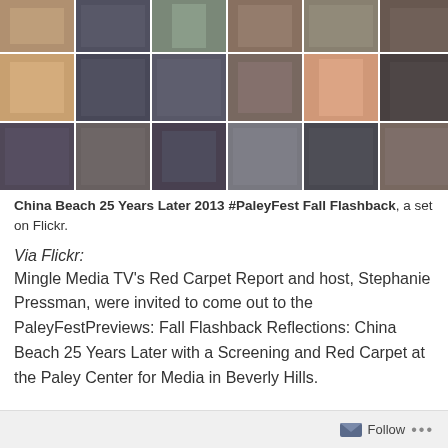[Figure (photo): Grid of 18 event photos from China Beach 25 Years Later 2013 PaleyFest Fall Flashback, arranged in 3 rows of 6 photos each]
China Beach 25 Years Later 2013 #PaleyFest Fall Flashback, a set on Flickr.
Via Flickr:
Mingle Media TV's Red Carpet Report and host, Stephanie Pressman, were invited to come out to the PaleyFestPreviews: Fall Flashback Reflections: China Beach 25 Years Later with a Screening and Red Carpet at the Paley Center for Media in Beverly Hills.
Follow ...